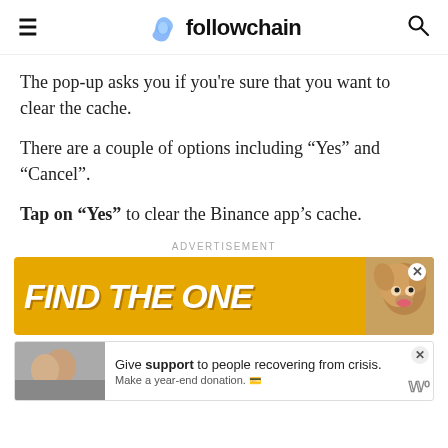followchain
The pop-up asks you if you're sure that you want to clear the cache.
There are a couple of options including “Yes” and “Cancel”.
Tap on “Yes” to clear the Binance app’s cache.
[Figure (other): Advertisement banner with yellow background reading FIND THE ONE in white bold italic text with a dog image on the right]
[Figure (other): Advertisement banner with a couple photo on the left and text: Give support to people recovering from crisis. Make a year-end donation.]